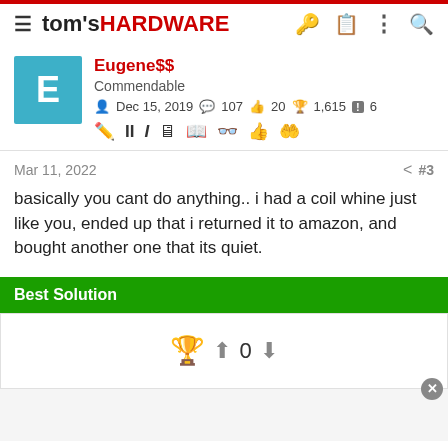tom's HARDWARE
Eugene$$
Commendable
Dec 15, 2019  107  20  1,615  6
Mar 11, 2022  #3
basically you cant do anything.. i had a coil whine just like you, ended up that i returned it to amazon, and bought another one that its quiet.
Best Solution
🏆 ⬆ 0 ⬇